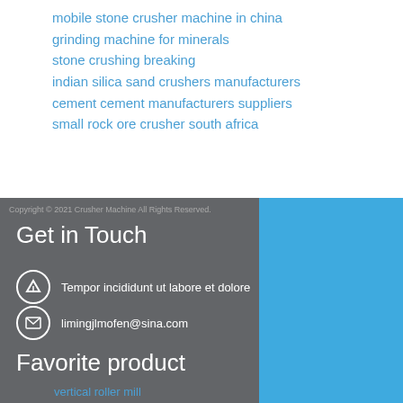mobile stone crusher machine in china
grinding machine for minerals
stone crushing breaking
indian silica sand crushers manufacturers
cement cement manufacturers suppliers
small rock ore crusher south africa
Copyright © 2021 Crusher Machine All Rights Reserved.
Get in Touch
Tempor incididunt ut labore et dolore
limingjlmofen@sina.com
Favorite product
vertical roller mill
[Figure (photo): Industrial crusher machine with chat/enquiry widget panel on blue background]
24/7 hour online
Click me to chat>>
Enquiry
limingjlmofen